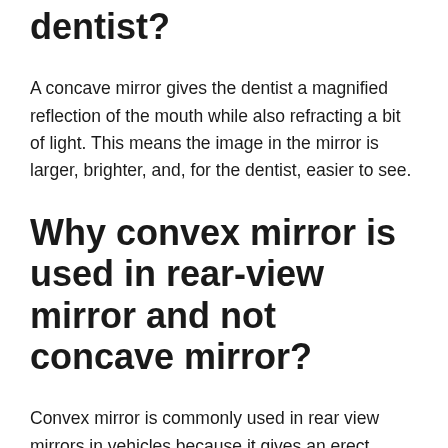dentist?
A concave mirror gives the dentist a magnified reflection of the mouth while also refracting a bit of light. This means the image in the mirror is larger, brighter, and, for the dentist, easier to see.
Why convex mirror is used in rear-view mirror and not concave mirror?
Convex mirror is commonly used in rear view mirrors in vehicles because it gives an erect, virtual, full size diminished image of distant objects with a wider field of view. Thus, convex mirrors enable the driver to view much larger area which is not possible with a